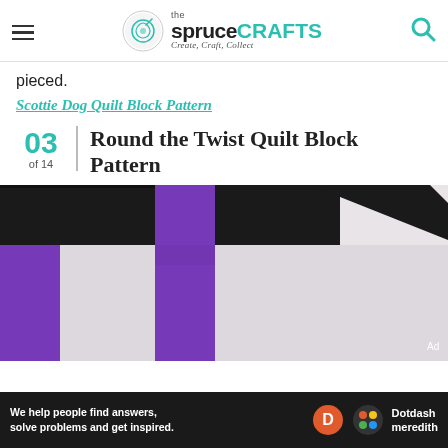the spruceCRAFTS — Create, Craft, Collect
pieced.
Scottie Dog Quilt Block Pattern
03 of 14 | Round the Twist Quilt Block Pattern
[Figure (photo): Quilt block pattern with purple, black, and white/light gray fabric pieces arranged in a round-the-twist design.]
We help people find answers, solve problems and get inspired. Dotdash meredith